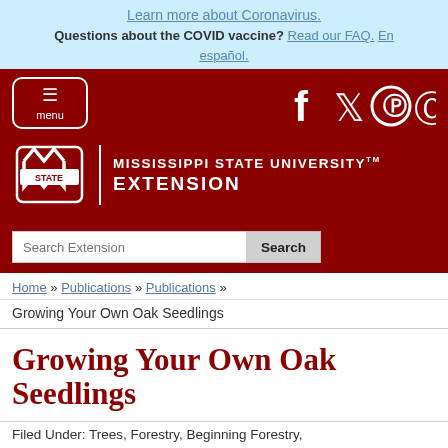Learn more about Coronavirus.
Questions about the COVID vaccine? Read our FAQ. En español.
[Figure (screenshot): Mississippi State University Extension website header with menu button, social media icons (Facebook, Twitter, Pinterest, Instagram), MSU logo, and search bar]
Home » Publications » Publications »
Growing Your Own Oak Seedlings
Growing Your Own Oak Seedlings
Filed Under: Trees, Forestry, Beginning Forestry,